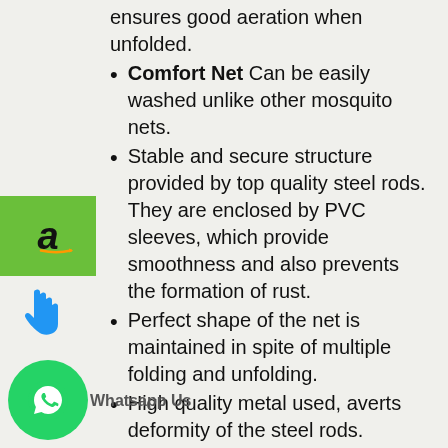ensures good aeration when unfolded.
Comfort Net Can be easily washed unlike other mosquito nets.
Stable and secure structure provided by top quality steel rods. They are enclosed by PVC sleeves, which provide smoothness and also prevents the formation of rust.
Perfect shape of the net is maintained in spite of multiple folding and unfolding.
High quality metal used, averts deformity of the steel rods.
Durability of the net assured by the quality of materials used in the design.
Mosquito Net for Bed Comes in various sizes (Single/Double bed/Deluxe) to suit the dimensions of the bed.
Portability ensured by the innovative design. A simple